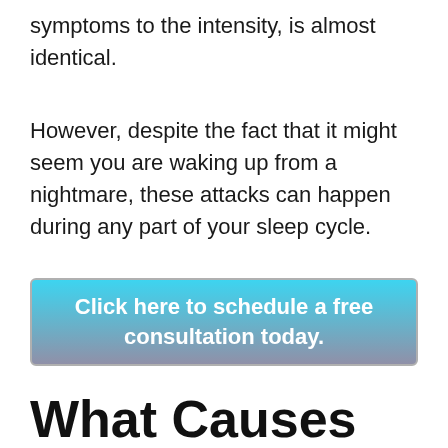symptoms to the intensity, is almost identical.
However, despite the fact that it might seem you are waking up from a nightmare, these attacks can happen during any part of your sleep cycle.
[Figure (other): Blue-to-grey gradient button with white bold text: 'Click here to schedule a free consultation today.']
What Causes